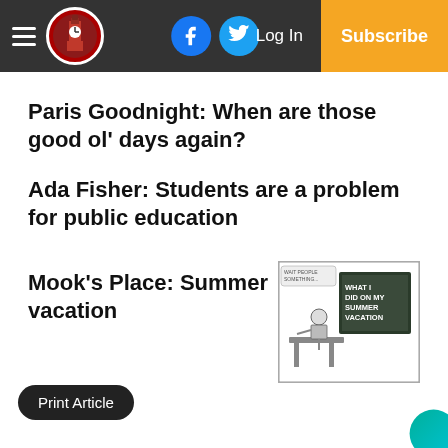Navigation bar with hamburger menu, logo, Facebook button, Twitter button, Log In, Subscribe
Paris Goodnight: When are those good ol' days again?
Ada Fisher: Students are a problem for public education
Mook's Place: Summer vacation
[Figure (illustration): Black and white cartoon of a person sitting at a desk in front of a chalkboard that reads 'WHAT I DID ON MY SUMMER VACATION']
Print Article